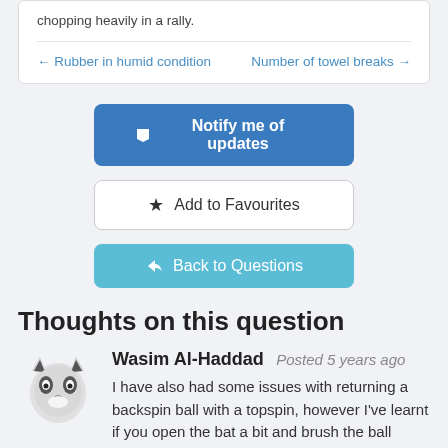the ball, the same principle as if they were chopping heavily in a rally.
← Rubber in humid condition    Number of towel breaks →
🔖 Notify me of updates
★ Add to Favourites
↩ Back to Questions
Thoughts on this question
Wasim Al-Haddad Posted 5 years ago
I have also had some issues with returning a backspin ball with a topspin, however I've learnt if you open the bat a bit and brush the ball upwards you